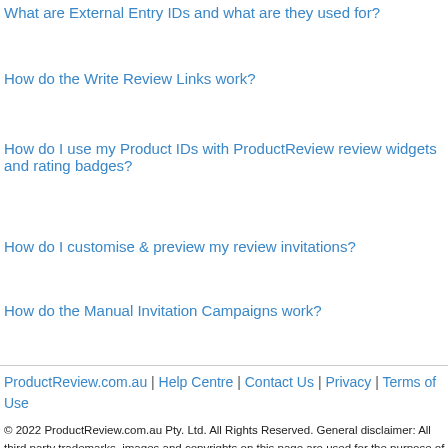What are External Entry IDs and what are they used for?
How do the Write Review Links work?
How do I use my Product IDs with ProductReview review widgets and rating badges?
How do I customise & preview my review invitations?
How do the Manual Invitation Campaigns work?
ProductReview.com.au | Help Centre | Contact Us | Privacy | Terms of Use
© 2022 ProductReview.com.au Pty. Ltd. All Rights Reserved. General disclaimer: All third party trademarks, images and copyrights on this page are used for the purpose of comparative advertising, criticism or review. This is a public forum presenting user opinions on selected products and businesses, and as such the views expressed do not reflect the opinion of ProductReview.com.au. Further details in the disclaimer.